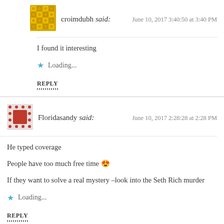[Figure (illustration): Yellow geometric pattern avatar for croimdubh]
croimdubh said: June 10, 2017 3:40:50 at 3:40 PM
I found it interesting
Loading...
REPLY
[Figure (illustration): Red square pattern avatar for Floridasandy]
Floridasandy said: June 10, 2017 2:28:28 at 2:28 PM
He typed coverage
People have too much free time 😍
If they want to solve a real mystery –look into the Seth Rich murder
Loading...
REPLY
[Figure (illustration): Teal geometric pattern avatar for Maximus Minimus]
Maximus Minimus said: June 10, 2017 2:47:01 at 2:47 PM